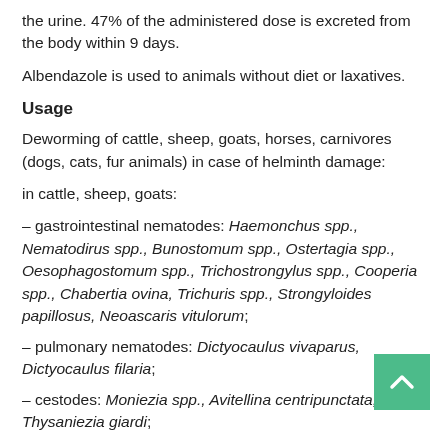the urine. 47% of the administered dose is excreted from the body within 9 days.
Albendazole is used to animals without diet or laxatives.
Usage
Deworming of cattle, sheep, goats, horses, carnivores (dogs, cats, fur animals) in case of helminth damage:
in cattle, sheep, goats:
– gastrointestinal nematodes: Haemonchus spp., Nematodirus spp., Bunostomum spp., Ostertagia spp., Oesophagostomum spp., Trichostrongylus spp., Cooperia spp., Chabertia ovina, Trichuris spp., Strongyloides papillosus, Neoascaris vitulorum;
– pulmonary nematodes: Dictyocaulus vivaparus, Dictyocaulus filaria;
– cestodes: Moniezia spp., Avitellina centripunctata, Thysaniezia giardi;